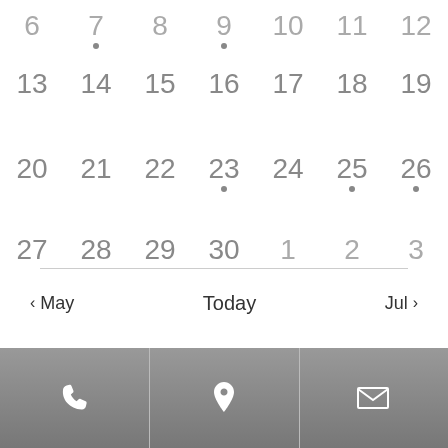[Figure (screenshot): Bottom portion of a monthly calendar showing dates 13-30 and 1-3, with event dots on day 7 (partial, top), 9 (partial, top), 23, 25, 26. Navigation row with < May, Today, Jul > buttons. Subscribe to Calendar button. Footer bar with phone, location pin, and mail icons.]
< May   Today   Jul >
SUBSCRIBE TO CALENDAR